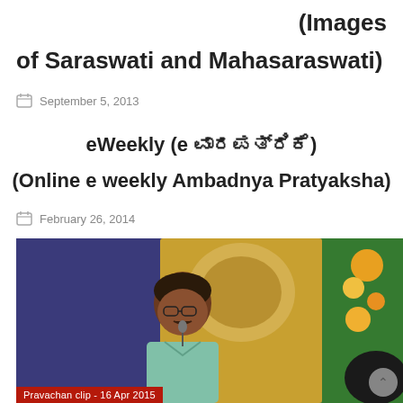(Images of Saraswati and Mahasaraswati)
September 5, 2013
eWeekly (e ವಾರಪತ್ರಿಕೆ)
(Online e weekly Ambadnya Pratyaksha)
February 26, 2014
[Figure (photo): A man with glasses and a moustache speaking at an event, with a decorative religious painting/image in the background. A red banner at the bottom reads 'Pravachan clip - 16 Apr 2015'.]